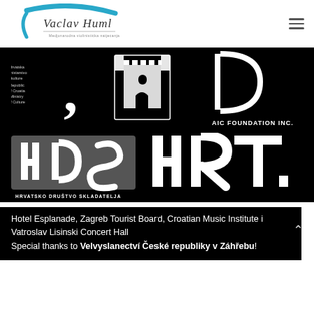Vaclav Huml
[Figure (logo): Logos: Hrvatska Ministarstvo kulture Republic of Croatia Ministry of Culture, city castle logo, AIC Foundation Inc.]
[Figure (logo): Logos: HDS Hrvatsko Drustvo Skladatelja, HRT Croatian Radio Television]
Hotel Esplanade, Zagreb Tourist Board, Croatian Music Institute i Vatroslav Lisinski Concert Hall Special thanks to Velvyslanectví České republiky v Záhřebu!